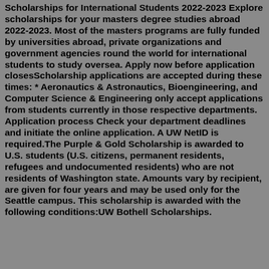Scholarships for International Students 2022-2023 Explore scholarships for your masters degree studies abroad 2022-2023. Most of the masters programs are fully funded by universities abroad, private organizations and government agencies round the world for international students to study oversea. Apply now before application closesScholarship applications are accepted during these times: * Aeronautics & Astronautics, Bioengineering, and Computer Science & Engineering only accept applications from students currently in those respective departments. Application process Check your department deadlines and initiate the online application. A UW NetID is required.The Purple & Gold Scholarship is awarded to U.S. students (U.S. citizens, permanent residents, refugees and undocumented residents) who are not residents of Washington state. Amounts vary by recipient, are given for four years and may be used only for the Seattle campus. This scholarship is awarded with the following conditions:UW Bothell Scholarships.